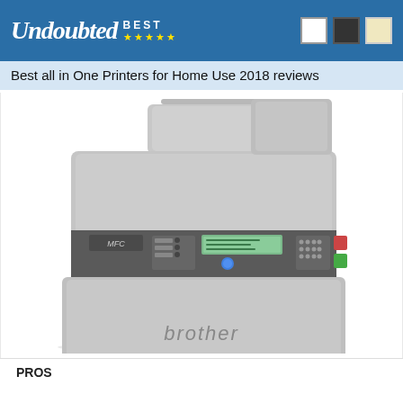Undoubted BEST ★★★★★
Best all in One Printers for Home Use 2018 reviews
[Figure (photo): Brother MFC all-in-one laser printer, light gray color, front view showing control panel with display, paper tray, and document feeder on top. Brand name 'brother' visible on front panel.]
PROS